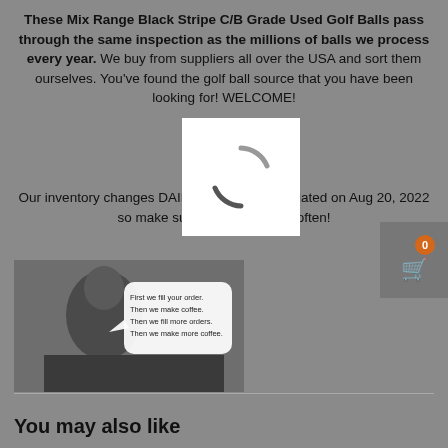These Mix Range Black Stripe C/B Grade Used Golf Balls pass through the same inspection as the millions of balls we process every year. We buy from suppliers all over the USA and sort them ourselves. You've found the golf ball source that you have been looking for! WELCOME!
Our inventory changes DAILY and was last updated on Aug 20, 2022 so make sure you come back often!
[Figure (photo): Loading spinner (white square with circular arc spinner icon) overlaid on text]
[Figure (screenshot): Shopping cart icon button with orange badge showing 0]
[Figure (photo): Black and white vintage photo of a woman at a typewriter with a speech bubble: 'First we fill your order. Then we make coffee. Then we fill more orders. Then we make more coffee.']
You may also like